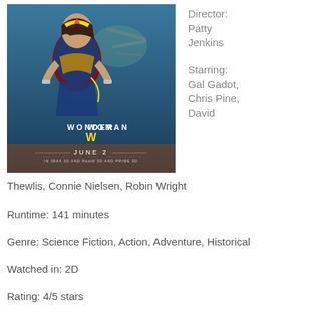[Figure (photo): Wonder Woman movie poster showing the character in costume with text 'WONDER WOMAN' and 'JUNE 2']
Director: Patty Jenkins
Starring: Gal Gadot, Chris Pine, David Thewlis, Connie Nielsen, Robin Wright
Runtime: 141 minutes
Genre: Science Fiction, Action, Adventure, Historical
Watched in: 2D
Rating: 4/5 stars